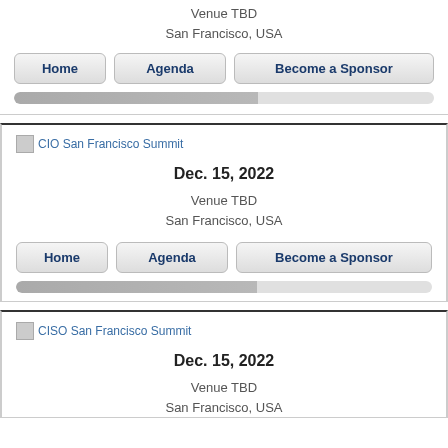Venue TBD
San Francisco, USA
[Figure (screenshot): Row of navigation buttons: Home, Agenda, Become a Sponsor]
[Figure (infographic): Progress bar, partially filled]
CIO San Francisco Summit
Dec. 15, 2022
Venue TBD
San Francisco, USA
[Figure (screenshot): Row of navigation buttons: Home, Agenda, Become a Sponsor]
[Figure (infographic): Progress bar, partially filled]
CISO San Francisco Summit
Dec. 15, 2022
Venue TBD
San Francisco, USA